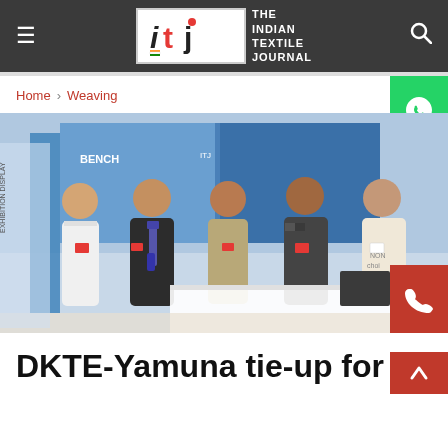Indian Textile Journal - ITJ
Home › Weaving
[Figure (photo): Five men standing together at an exhibition or trade show booth with banners in the background]
DKTE-Yamuna tie-up for